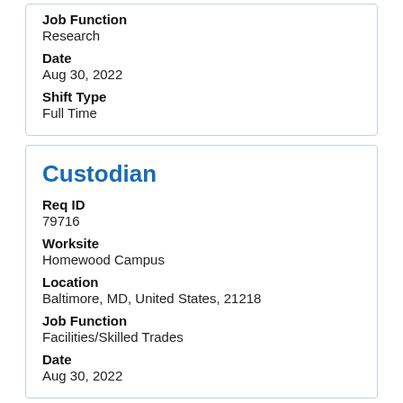Job Function
Research
Date
Aug 30, 2022
Shift Type
Full Time
Custodian
Req ID
79716
Worksite
Homewood Campus
Location
Baltimore, MD, United States, 21218
Job Function
Facilities/Skilled Trades
Date
Aug 30, 2022